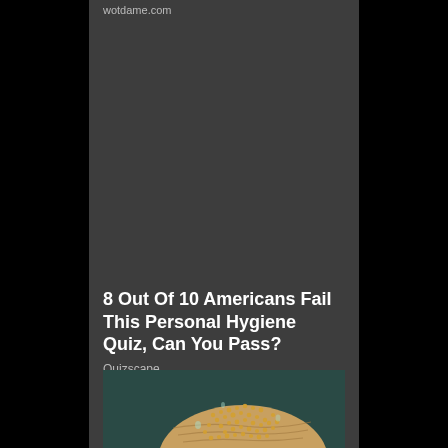wotdame.com
8 Out Of 10 Americans Fail This Personal Hygiene Quiz, Can You Pass?
Quizscape
[Figure (photo): Close-up photograph of a human fingertip covered with tiny golden seeds or particles, showing the fingerprint ridges underneath]